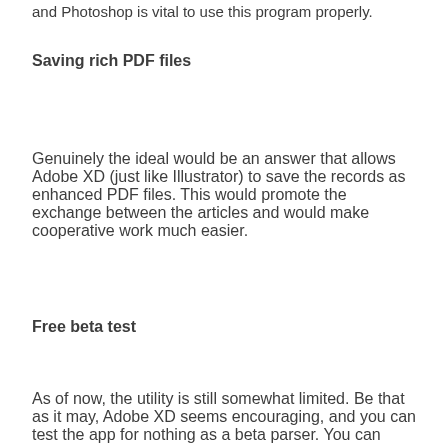and Photoshop is vital to use this program properly.
Saving rich PDF files
Genuinely the ideal would be an answer that allows Adobe XD (just like Illustrator) to save the records as enhanced PDF files. This would promote the exchange between the articles and would make cooperative work much easier.
Free beta test
As of now, the utility is still somewhat limited. Be that as it may, Adobe XD seems encouraging, and you can test the app for nothing as a beta parser. You can